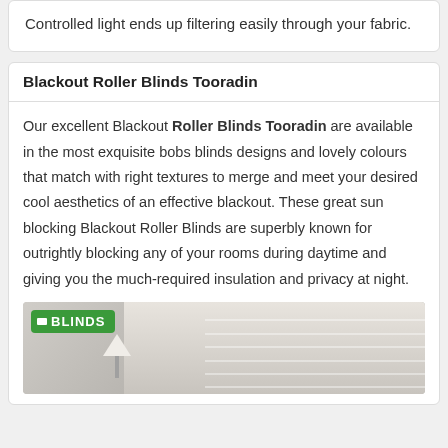Controlled light ends up filtering easily through your fabric.
Blackout Roller Blinds Tooradin
Our excellent Blackout Roller Blinds Tooradin are available in the most exquisite bobs blinds designs and lovely colours that match with right textures to merge and meet your desired cool aesthetics of an effective blackout. These great sun blocking Blackout Roller Blinds are superbly known for outrightly blocking any of your rooms during daytime and giving you the much-required insulation and privacy at night.
[Figure (photo): Photo of roller blinds installed in a room, with a Blinds logo badge in the top left corner.]